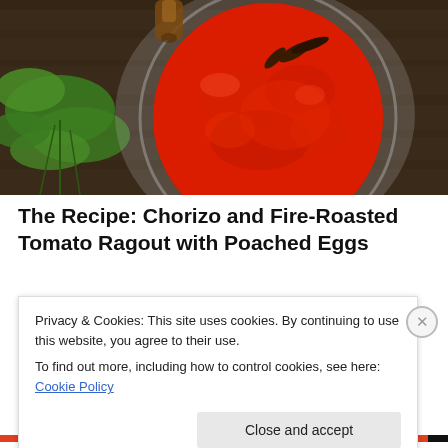[Figure (photo): Overhead shot of a glass jar filled with vibrant red fire-roasted tomato ragout/sauce, with green cilantro leaves and dried chili peppers visible, on a dark wooden surface.]
The Recipe: Chorizo and Fire-Roasted Tomato Ragout with Poached Eggs
(serves 4)
Privacy & Cookies: This site uses cookies. By continuing to use this website, you agree to their use.
To find out more, including how to control cookies, see here: Cookie Policy
Close and accept